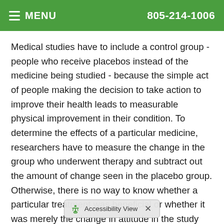MENU  805-214-1006
Medical studies have to include a control group - people who receive placebos instead of the medicine being studied - because the simple act of people making the decision to take action to improve their health leads to measurable physical improvement in their condition. To determine the effects of a particular medicine, researchers have to measure the change in the group who underwent therapy and subtract out the amount of change seen in the placebo group. Otherwise, there is no way to know whether a particular treatment was beneficial or whether it was merely the change in attitude in the study subjects that made the difference. In many instances, the placebo effect turns out to be stronger than the treatment its... you want